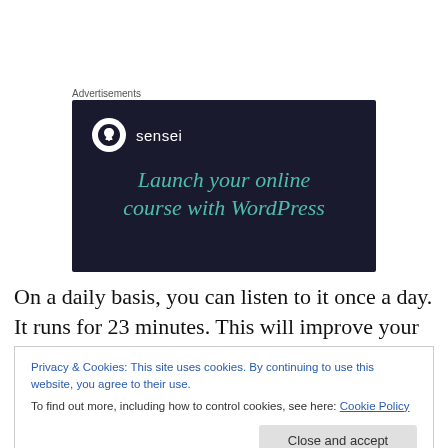Advertisements
[Figure (illustration): Sensei advertisement banner with dark navy background, Sensei logo (tree icon in white circle) and brand name, headline text 'Launch your online course with WordPress' in teal italic font]
On a daily basis, you can listen to it once a day. It runs for 23 minutes. This will improve your general well-being and
Privacy & Cookies: This site uses cookies. By continuing to use this website, you agree to their use.
To find out more, including how to control cookies, see here: Cookie Policy
Close and accept